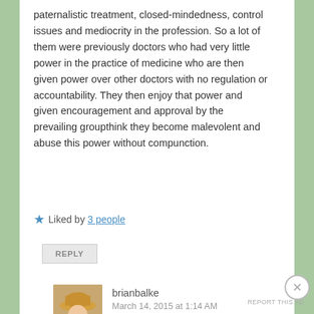paternalistic treatment, closed-mindedness, control issues and mediocrity in the profession. So a lot of them were previously doctors who had very little power in the practice of medicine who are then given power over other doctors with no regulation or accountability. They then enjoy that power and given encouragement and approval by the prevailing groupthink they become malevolent and abuse this power without compunction.
Liked by 3 people
REPLY
brianbalke
March 14, 2015 at 1:14 AM
Advertisements